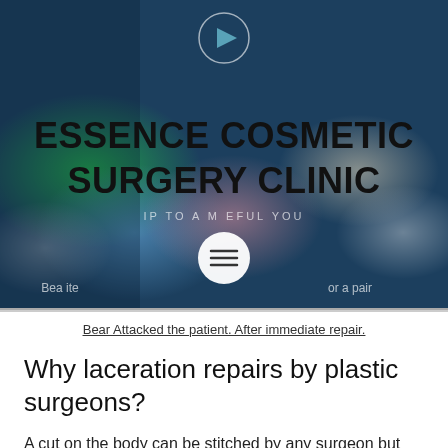[Figure (screenshot): Essence Cosmetic Surgery Clinic website header banner with dark blue bokeh background, large bold title text, subtitle, hamburger menu button, and navigation links]
Bear Attacked the patient. After immediate repair.
Why laceration repairs by plastic surgeons?
A cut on the body can be stitched by any surgeon but the care and finesse which a plastic surgeon brings to